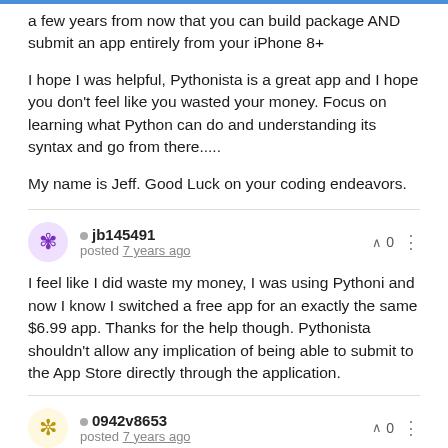a few years from now that you can build package AND submit an app entirely from your iPhone 8+
I hope I was helpful, Pythonista is a great app and I hope you don't feel like you wasted your money. Focus on learning what Python can do and understanding its syntax and go from there.....
My name is Jeff. Good Luck on your coding endeavors.
jb145491 posted 7 years ago ^ 0
I feel like I did waste my money, I was using Pythoni and now I know I switched a free app for an exactly the same $6.99 app. Thanks for the help though. Pythonista shouldn't allow any implication of being able to submit to the App Store directly through the application.
0942v8653 posted 7 years ago ^ 0
Unfortunately it's a bit more complicated than that. You'll need a $99/year Apple Developer license in order to submit apps on a...